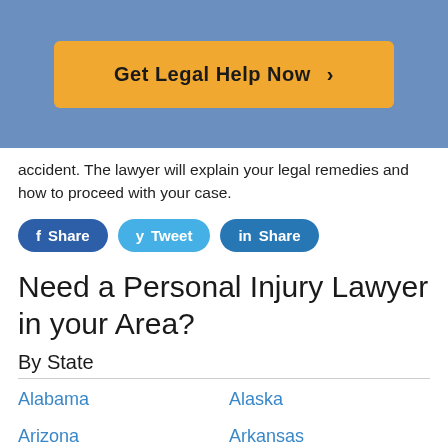[Figure (other): Orange call-to-action button reading 'Get Legal Help Now >' on a blue background header]
accident. The lawyer will explain your legal remedies and how to proceed with your case.
[Figure (other): Three social sharing buttons: Facebook Share, Twitter Tweet, LinkedIn Share]
Need a Personal Injury Lawyer in your Area?
By State
Alabama
Alaska
Arizona
Arkansas
California
Colorado